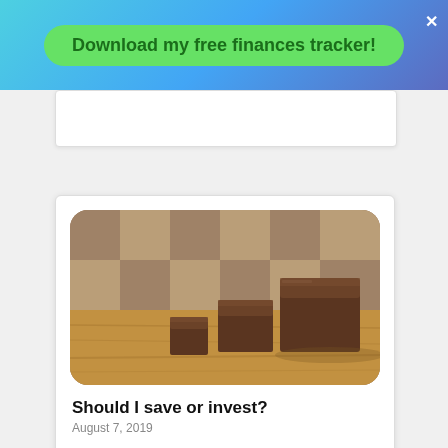Download my free finances tracker!
[Figure (photo): Chocolate bars of increasing size arranged in a row on a wooden surface, representing financial growth concepts]
Should I save or invest?
August 7, 2019
If someone asked you which was more important: the amount you invest each month, or the rate of return on your investments – what would